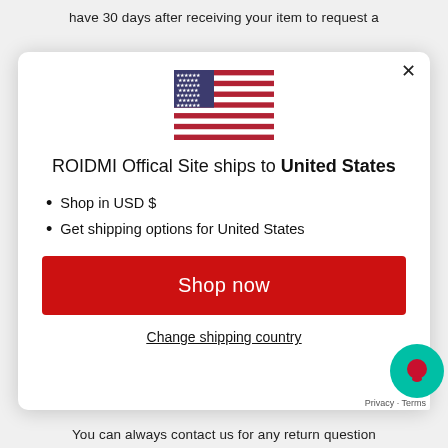have 30 days after receiving your item to request a
[Figure (illustration): Popup modal dialog showing US flag, shipping destination info for ROIDMI Official Site, shop now button, and change shipping country link]
You can always contact us for any return question